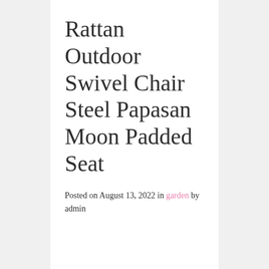Rattan Outdoor Swivel Chair Steel Papasan Moon Padded Seat
Posted on August 13, 2022 in garden by admin